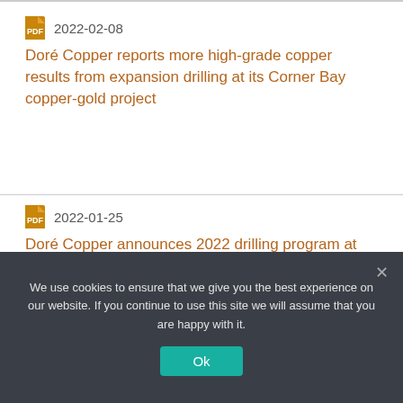2022-02-08 — Doré Copper reports more high-grade copper results from expansion drilling at its Corner Bay copper-gold project
2022-01-25 — Doré Copper announces 2022 drilling program at flagship Corner Bay and Devlin projects
2022-01-19
We use cookies to ensure that we give you the best experience on our website. If you continue to use this site we will assume that you are happy with it.